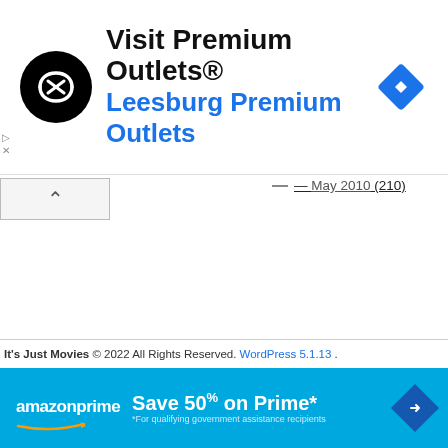[Figure (advertisement): Premium Outlets ad banner with black circular logo, 'Visit Premium Outlets®' text, 'Leesburg Premium Outlets' in blue, and blue diamond navigation icon]
April 2010 (172)
March 2010 (182)
February 2010 (141)
January 2010 (125)
December 2009 (160)
November 2009 (162)
October 2009 (201)
September 2009 (126)
August 2009 (5)
March 2009 (1)
It's Just Movies © 2022 All Rights Reserved. WordPress 5.1.13 .
[Figure (advertisement): Amazon Prime blue banner: 'amazon prime Save 50% on Prime* *For qualifying government assistance recipients']